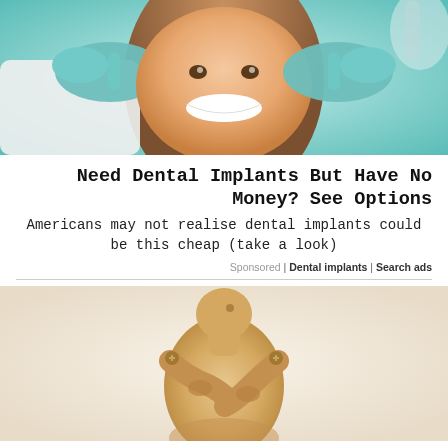[Figure (photo): Woman smiling at dental appointment, dentist with teal/green gloves pointing at her teeth, medical/dental office setting]
Need Dental Implants But Have No Money? See Options
Americans may not realise dental implants could be this cheap (take a look)
Sponsored | Dental implants | Search ads
[Figure (photo): Wooden artist mannequin/figure holding its back/shoulder area, suggesting back or joint pain, on white background]